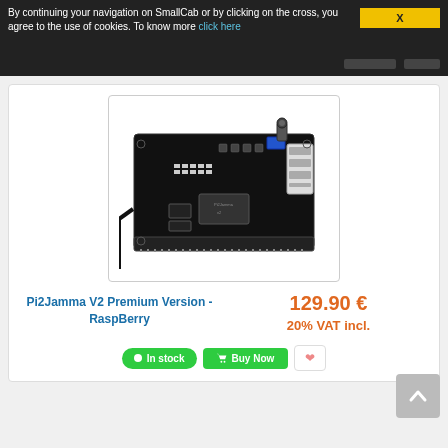By continuing your navigation on SmallCab or by clicking on the cross, you agree to the use of cookies. To know more click here
[Figure (photo): Pi2Jamma V2 circuit board - a black PCB with components including connectors, chips, and a JAMMA edge connector]
Pi2Jamma V2 Premium Version - RaspBerry
129.90 €
20% VAT incl.
In stock
Buy Now